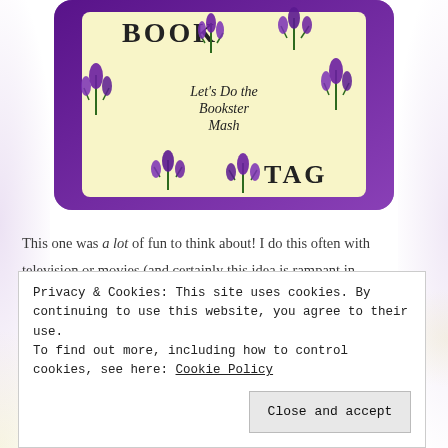[Figure (illustration): Book Tag graphic with lavender flowers surrounding a cream-colored center. Text reads 'BOOK' at top left, 'TAG' at bottom right, and 'Let's Do the Bookster Mash' in the center. Purple lavender flower bunches form a wreath/diamond shape around the text on a yellow-cream background, set within a purple glittery border.]
This one was a lot of fun to think about! I do this often with television or movies (and certainly this idea is rampant in fanfiction). The first set are books that I would love to see mashed up in a sense of omg these characters are wonderful and
Privacy & Cookies: This site uses cookies. By continuing to use this website, you agree to their use.
To find out more, including how to control cookies, see here: Cookie Policy